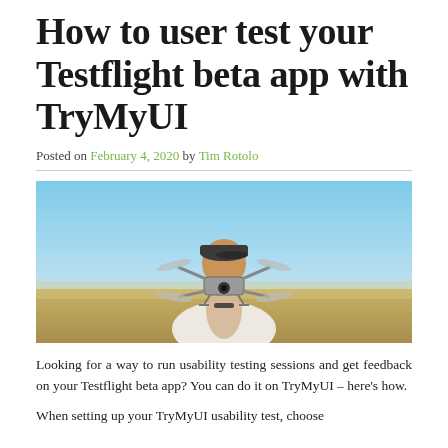How to user test your Testflight beta app with TryMyUI
Posted on February 4, 2020 by Tim Rotolo
[Figure (photo): A person in a white shirt and dark cap holding a drone (DJI-style quadcopter) up toward the camera against a bright blue sky and golden field background.]
Looking for a way to run usability testing sessions and get feedback on your Testflight beta app? You can do it on TryMyUI – here's how.
When setting up your TryMyUI usability test, choose